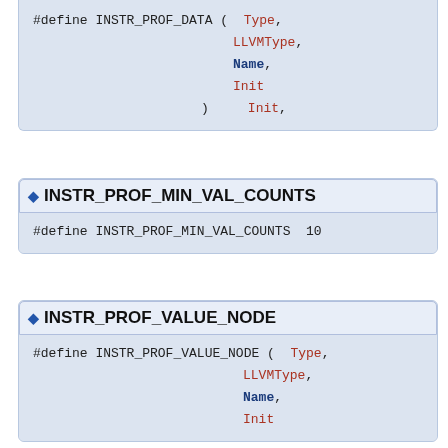#define INSTR_PROF_DATA ( Type, LLVMType, Name, Init ) Init,
INSTR_PROF_MIN_VAL_COUNTS
#define INSTR_PROF_MIN_VAL_COUNTS 10
INSTR_PROF_VALUE_NODE
#define INSTR_PROF_VALUE_NODE ( Type, LLVMType, Name, Init